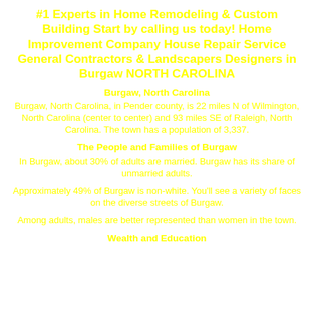#1 Experts in Home Remodeling & Custom Building Start by calling us today! Home Improvement Company House Repair Service General Contractors & Landscapers Designers in Burgaw NORTH CAROLINA
Burgaw, North Carolina
Burgaw, North Carolina, in Pender county, is 22 miles N of Wilmington, North Carolina (center to center) and 93 miles SE of Raleigh, North Carolina. The town has a population of 3,337.
The People and Families of Burgaw
In Burgaw, about 30% of adults are married. Burgaw has its share of unmarried adults.
Approximately 49% of Burgaw is non-white. You'll see a variety of faces on the diverse streets of Burgaw.
Among adults, males are better represented than women in the town.
Wealth and Education